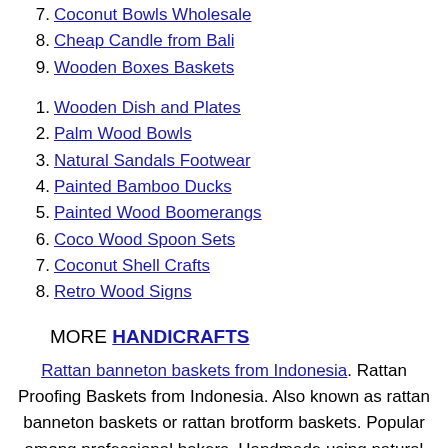7. Coconut Bowls Wholesale
8. Cheap Candle from Bali
9. Wooden Boxes Baskets
1. Wooden Dish and Plates
2. Palm Wood Bowls
3. Natural Sandals Footwear
4. Painted Bamboo Ducks
5. Painted Wood Boomerangs
6. Coco Wood Spoon Sets
7. Coconut Shell Crafts
8. Retro Wood Signs
MORE HANDICRAFTS
Rattan banneton baskets from Indonesia. Rattan Proofing Baskets from Indonesia. Also known as rattan banneton baskets or rattan brotform baskets. Popular among professional bakers. Handmade using natural rattan cane. Food safe, durable and cheap. Splinter free using selected rattan wicker and made using stainless steel nails only. Direct from rattan basket factory in